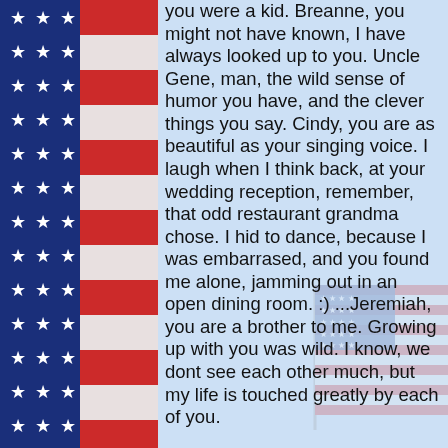[Figure (illustration): American flag border on left side with stars and red/white/blue stripes pattern]
you were a kid. Breanne, you might not have known, I have always looked up to you. Uncle Gene, man, the wild sense of humor you have, and the clever things you say. Cindy, you are as beautiful as your singing voice. I laugh when I think back, at your wedding reception, remember, that odd restaurant grandma chose. I hid to dance, because I was embarrased, and you found me alone, jamming out in an open dining room. :) ...Jeremiah, you are a brother to me. Growing up with you was wild. I know, we dont see each other much, but my life is touched greatly by each of you.
[Figure (illustration): Faded/watermark American flag on a pole, positioned in the lower center-right area of the page]